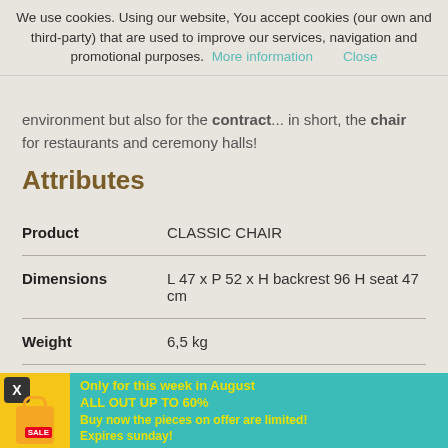We use cookies. Using our website, You accept cookies (our own and third-party) that are used to improve our services, navigation and promotional purposes. More information  Close
environment but also for the contract... in short, the chair for restaurants and ceremony halls!
Attributes
| Attribute | Value |
| --- | --- |
| Product | CLASSIC CHAIR |
| Dimensions | L 47 x P 52 x H backrest 96 H seat 47 cm |
| Weight | 6,5 kg |
| Packing volume | 0,21 mc |
Only for this week in August
ALL OUT UP TO 60%
Buy now the pieces on offer are limited!
Expires sunday!